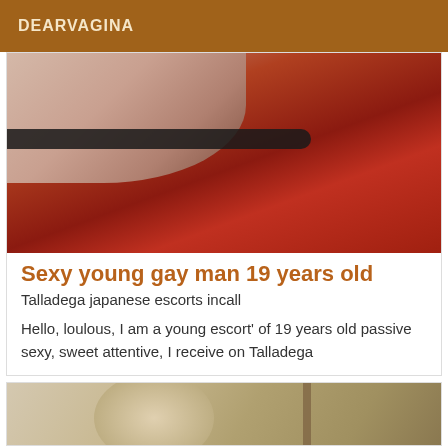DEARVAGINA
[Figure (photo): Close-up photo showing skin and red fabric with a black strap across]
Sexy young gay man 19 years old
Talladega japanese escorts incall
Hello, loulous, I am a young escort' of 19 years old passive sexy, sweet attentive, I receive on Talladega
[Figure (photo): Partial photo showing skin tones and a dark vertical object]